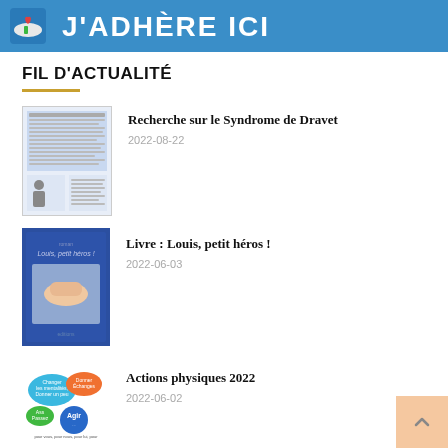[Figure (illustration): Blue banner with hand/heart icon and text J'ADHÈRE ICI in white on blue background]
FIL D'ACTUALITÉ
[Figure (illustration): Thumbnail of a French medical article about Dravet Syndrome research]
Recherche sur le Syndrome de Dravet
2022-08-22
[Figure (illustration): Blue book cover: Louis, petit héros!]
Livre : Louis, petit héros !
2022-06-03
[Figure (illustration): Infographic with speech bubbles: Changer les mentalités, Donner un peu de son temps, S'exprimer, Échanger, Agir — pour vous, pour nous, pour lui, pour l'avenir de l'association c'est vous]
Actions physiques 2022
2022-06-02